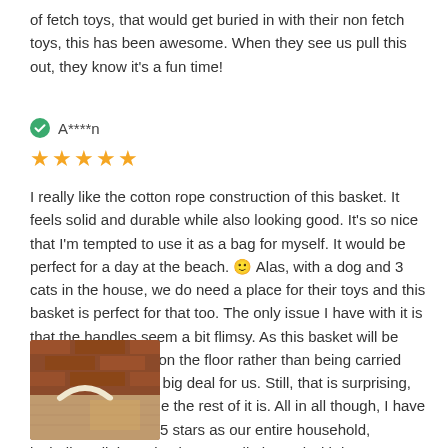of fetch toys, that would get buried in with their non fetch toys, this has been awesome. When they see us pull this out, they know it's a fun time!
A****n
[Figure (other): Five gold/orange star rating icons]
I really like the cotton rope construction of this basket. It feels solid and durable while also looking good. It's so nice that I'm tempted to use it as a bag for myself. It would be perfect for a day at the beach. 🙂 Alas, with a dog and 3 cats in the house, we do need a place for their toys and this basket is perfect for that too. The only issue I have with it is that the handles seem a bit flimsy. As this basket will be sitting in one place on the floor rather than being carried around that is not a big deal for us. Still, that is surprising, given how well made the rest of it is. All in all though, I have to give this product 5 stars as our entire household, including all the animals, are well pleased with it.
[Figure (photo): A photo of a basket with rope handles and some items inside, partially visible at bottom of page]